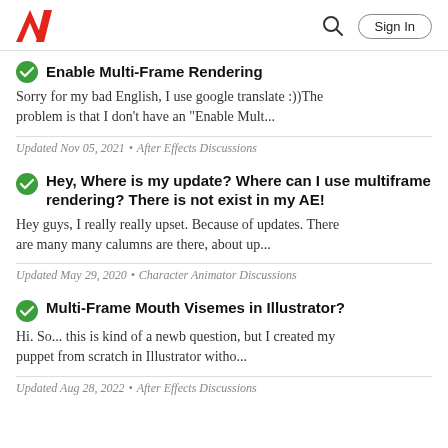Adobe | Sign In
Enable Multi-Frame Rendering
Sorry for my bad English, I use google translate :))The problem is that I don't have an "Enable Mult...
Updated Nov 05, 2021 • After Effects Discussions
Hey, Where is my update? Where can I use multiframe rendering? There is not exist in my AE!
Hey guys, I really really upset. Because of updates. There are many many calumns are there, about up...
Updated May 29, 2020 • Character Animator Discussions
Multi-Frame Mouth Visemes in Illustrator?
Hi. So... this is kind of a newb question, but I created my puppet from scratch in Illustrator witho...
Updated Aug 28, 2022 • After Effects Discussions